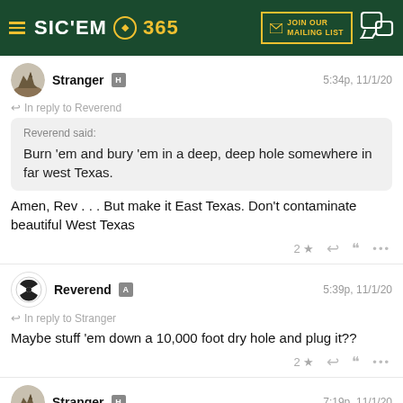SIC'EM 365 — JOIN OUR MAILING LIST
Stranger H — 5:34p, 11/1/20
In reply to Reverend
Reverend said: Burn 'em and bury 'em in a deep, deep hole somewhere in far west Texas.
Amen, Rev . . . But make it East Texas. Don't contaminate beautiful West Texas
Reverend A — 5:39p, 11/1/20
In reply to Stranger
Maybe stuff 'em down a 10,000 foot dry hole and plug it??
Stranger H — 7:19p, 11/1/20